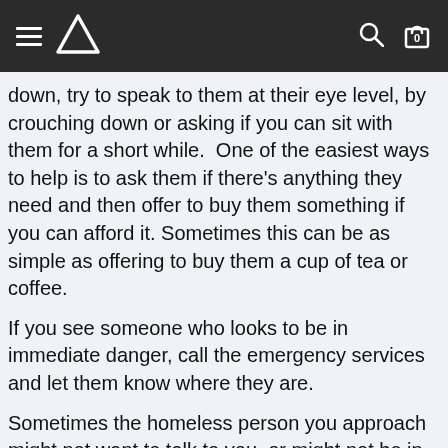Navigation bar with hamburger menu, logo, search, and cart icons
down, try to speak to them at their eye level, by crouching down or asking if you can sit with them for a short while.  One of the easiest ways to help is to ask them if there's anything they need and then offer to buy them something if you can afford it. Sometimes this can be as simple as offering to buy them a cup of tea or coffee.
If you see someone who looks to be in immediate danger, call the emergency services and let them know where they are.
Sometimes the homeless person you approach might not want to talk to you, or might not be in an appropriate state of mind for conversation. You can still help by taking the time to find out which